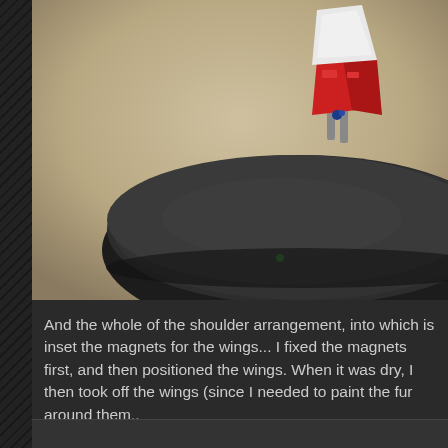[Figure (photo): Close-up photo of a miniature figurine with red and white armor/wings mounted on a large dark circular base, photographed against a beige/tan background]
And the whole of the shoulder arrangement, into which is inset the magnets for the wings... I fixed the magnets first, and then positioned the wings. When it was dry, I then took off the wings (since I needed to paint the fur around them..